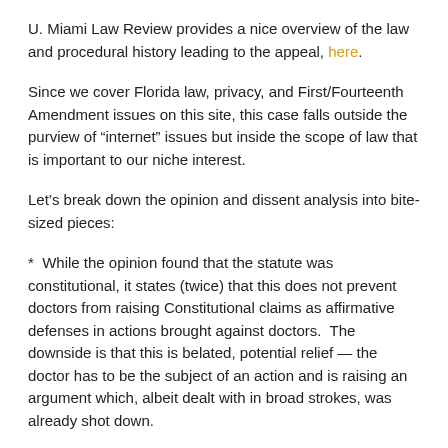U. Miami Law Review provides a nice overview of the law and procedural history leading to the appeal, here.
Since we cover Florida law, privacy, and First/Fourteenth Amendment issues on this site, this case falls outside the purview of “internet” issues but inside the scope of law that is important to our niche interest.
Let’s break down the opinion and dissent analysis into bite-sized pieces:
*  While the opinion found that the statute was constitutional, it states (twice) that this does not prevent doctors from raising Constitutional claims as affirmative defenses in actions brought against doctors.  The downside is that this is belated, potential relief — the doctor has to be the subject of an action and is raising an argument which, albeit dealt with in broad strokes, was already shot down.
* During the argument over whether the Plaintiff-doctors had standing, the State actually argued that the Act “merely suggests that the physicians ‘should refrain’ from inquiring as